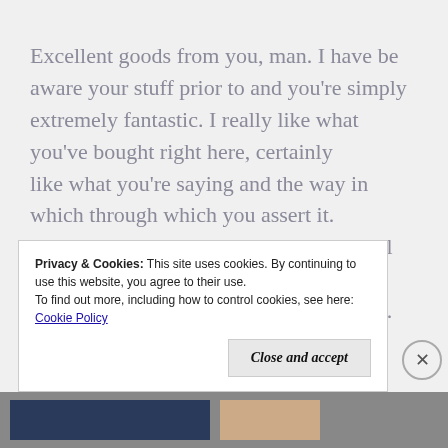Excellent goods from you, man. I have be aware your stuff prior to and you're simply extremely fantastic. I really like what you've bought right here, certainly like what you're saying and the way in which through which you assert it. You are making it enjoyable and you still care for to stay it sensible. I cant wait to learn much more from you. That is actually a terrific web site.
Privacy & Cookies: This site uses cookies. By continuing to use this website, you agree to their use. To find out more, including how to control cookies, see here: Cookie Policy